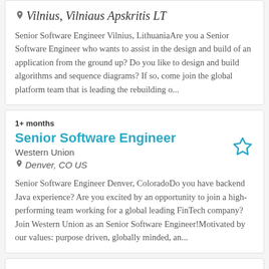Vilnius, Vilniaus Apskritis LT
Senior Software Engineer Vilnius, LithuaniaAre you a Senior Software Engineer who wants to assist in the design and build of an application from the ground up? Do you like to design and build algorithms and sequence diagrams? If so, come join the global platform team that is leading the rebuilding o...
1+ months
Senior Software Engineer
Western Union
Denver, CO US
Senior Software Engineer Denver, ColoradoDo you have backend Java experience? Are you excited by an opportunity to join a high-performing team working for a global leading FinTech company? Join Western Union as an Senior Software Engineer!Motivated by our values: purpose driven, globally minded, an...